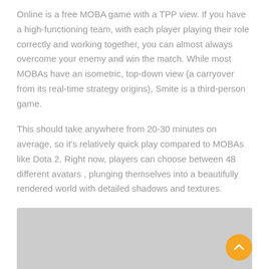Online is a free MOBA game with a TPP view. If you have a high-functioning team, with each player playing their role correctly and working together, you can almost always overcome your enemy and win the match. While most MOBAs have an isometric, top-down view (a carryover from its real-time strategy origins), Smite is a third-person game.
This should take anywhere from 20-30 minutes on average, so it's relatively quick play compared to MOBAs like Dota 2. Right now, players can choose between 48 different avatars , plunging themselves into a beautifully rendered world with detailed shadows and textures.
Smite
[Figure (photo): A partially visible image placeholder showing a gray rectangle, with a yellow circular scroll-to-top button in the bottom right corner containing an upward-pointing chevron.]